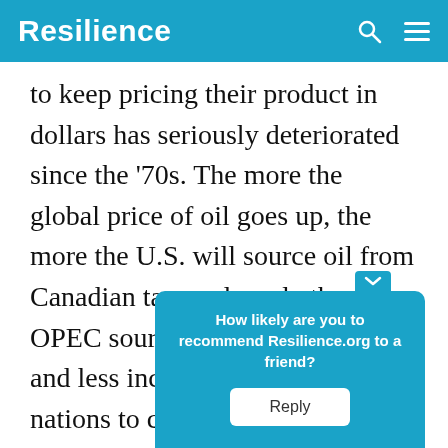Resilience
to keep pricing their product in dollars has seriously deteriorated since the '70s. The more the global price of oil goes up, the more the U.S. will source oil from Canadian tar sands and other non-OPEC sources. That means less and less incentive for the OPEC nations to continue pricing their oil in dollars for all their non-U.S. customers.

Iran a[...]

transa[...]
How likely are you to recommend Resilience.org to a friend? Reply